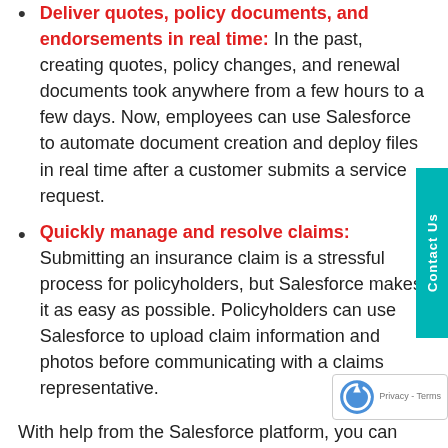Deliver quotes, policy documents, and endorsements in real time: In the past, creating quotes, policy changes, and renewal documents took anywhere from a few hours to a few days. Now, employees can use Salesforce to automate document creation and deploy files in real time after a customer submits a service request.
Quickly manage and resolve claims: Submitting an insurance claim is a stressful process for policyholders, but Salesforce makes it as easy as possible. Policyholders can use Salesforce to upload claim information and photos before communicating with a claims representative.
With help from the Salesforce platform, you can significantly improve customer satisfaction, save your employees time, and increase your competitive edge over other insurance